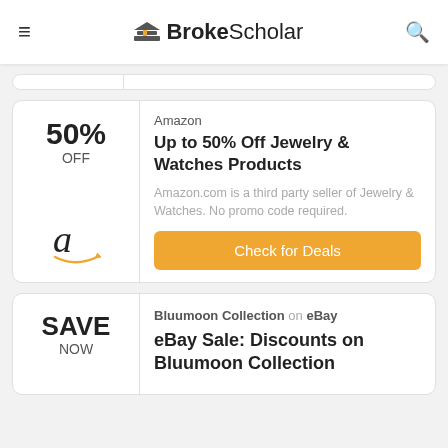BrokeScholar
[Figure (screenshot): Partial deal card (top edge only visible)]
50% OFF
Amazon
Up to 50% Off Jewelry & Watches Products
Amazon.com is a third party seller of Jewelry & Watches. No promo code required.
Check for Deals
SAVE NOW
Bluumoon Collection on eBay
eBay Sale: Discounts on Bluumoon Collection